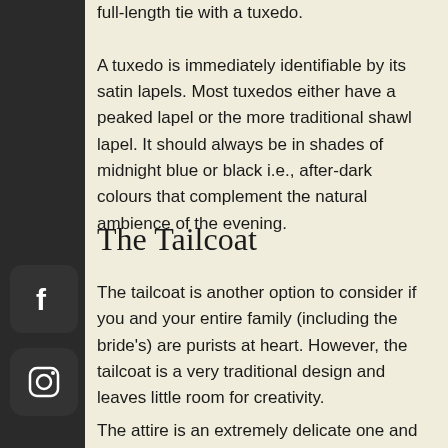full-length tie with a tuxedo.

A tuxedo is immediately identifiable by its satin lapels. Most tuxedos either have a peaked lapel or the more traditional shawl lapel. It should always be in shades of midnight blue or black i.e., after-dark colours that complement the natural ambience of the evening.
The Tailcoat
The tailcoat is another option to consider if you and your entire family (including the bride's) are purists at heart. However, the tailcoat is a very traditional design and leaves little room for creativity.
The attire is an extremely delicate one and reserved only for very formal occasions. So think again before